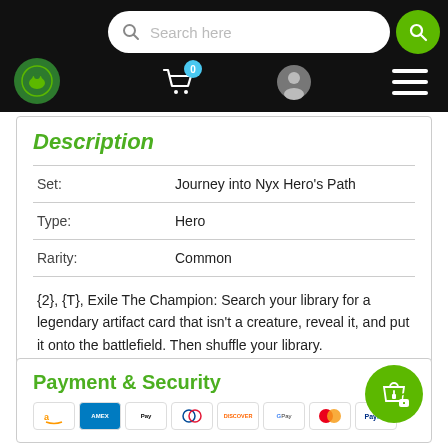Search here [navigation bar with cart, user, menu icons]
Description
| Set: | Journey into Nyx Hero's Path |
| Type: | Hero |
| Rarity: | Common |
| {2}, {T}, Exile The Champion: Search your library for a legendary artifact card that isn't a creature, reveal it, and put it onto the battlefield. Then shuffle your library. |  |
Payment & Security
[Figure (logo): Payment method card logos: Amazon, American Express, Apple Pay, Diners, Discover, Google Pay, Mastercard, PayPal]